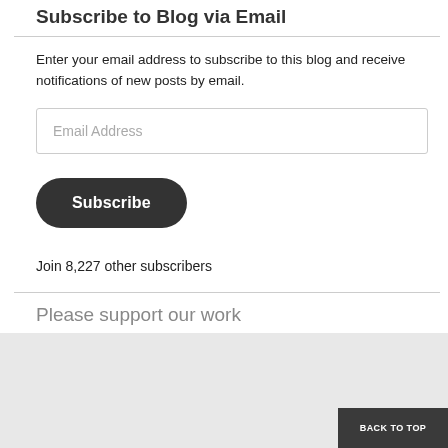Subscribe to Blog via Email
Enter your email address to subscribe to this blog and receive notifications of new posts by email.
Email Address
Subscribe
Join 8,227 other subscribers
Please support our work
Advertisements
[Figure (screenshot): WordPress advertisement banner: 'Opinions. We all have them!' with WordPress logo and partial circular icon on dark navy background, with a 'BACK TO TOP' button overlay]